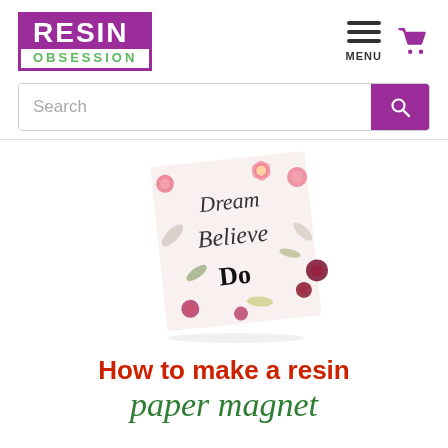[Figure (logo): Resin Obsession logo: purple box with RESIN in white on purple background and OBSESSION in green on white background]
[Figure (infographic): Hamburger menu icon with three horizontal bars and MENU label, plus a purple shopping cart icon]
[Figure (other): Search bar with text placeholder 'Search' and purple search button with magnifying glass icon]
[Figure (photo): A floral paper magnet with text 'Dream Believe Do' in script, decorated with pink and dark red flowers and green leaves on a white background, slightly tilted]
How to make a resin paper magnet